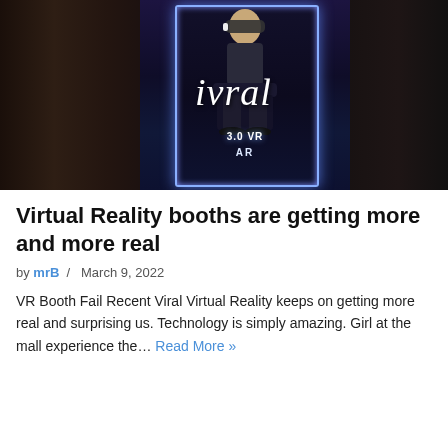[Figure (photo): A person sitting in a VR booth/pod wearing a VR headset in a shopping mall. The booth has blue LED lighting. Text overlay reads 'ivral'. The booth shows '3.0 VR' and 'AR' branding.]
Virtual Reality booths are getting more and more real
by mrB / March 9, 2022
VR Booth Fail Recent Viral Virtual Reality keeps on getting more real and surprising us. Technology is simply amazing. Girl at the mall experience the… Read More »